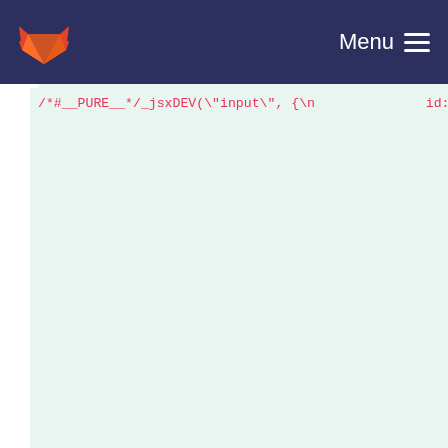GitLab Menu
/*#__PURE__*/_jsxDEV(\"input\", {\n              id: \"username\",\n          type: \"text\",\n value: username,\n onChange: handleUsernameChange\n          }, void 0, false, {\n      fileName: _jsxFileName,\n      lineNumber: 116,\n columnNumber: 13\n          },\n  this)]\n          }, void 0, true, {\n              fileName: _jsxFileName,\n              lineNumber: 114,\n  columnNumber: 11\n          },\n  this),\n  /*#__PURE__*/_jsxDEV(\"label\", {\n              children: [\"Password:\",\n  /*#__PURE__*/_jsxDEV(\"input\", {\n              id: \"password\",\n          type: \"password\",\n          value: password,\n